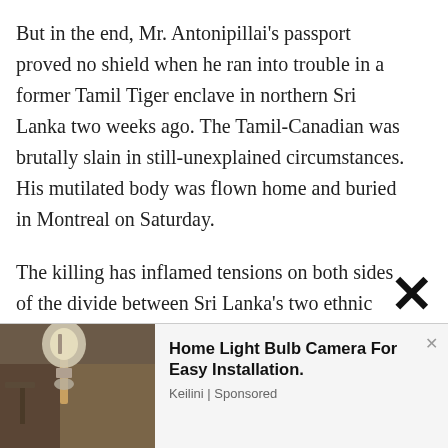But in the end, Mr. Antonipillai's passport proved no shield when he ran into trouble in a former Tamil Tiger enclave in northern Sri Lanka two weeks ago. The Tamil-Canadian was brutally slain in still-unexplained circumstances. His mutilated body was flown home and buried in Montreal on Saturday.
The killing has inflamed tensions on both sides of the divide between Sri Lanka's two ethnic groups, on the island and in the country's far-flung diasporas. It paints in stark relief the climate of barely suppressed
[Figure (photo): Advertisement photo showing a light bulb camera mounted on a wall bracket]
Home Light Bulb Camera For Easy Installation.
Keilini | Sponsored